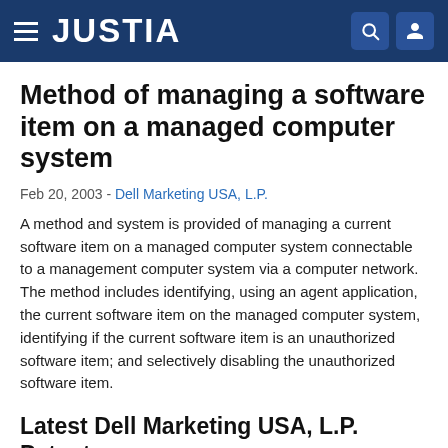JUSTIA
Method of managing a software item on a managed computer system
Feb 20, 2003 - Dell Marketing USA, L.P.
A method and system is provided of managing a current software item on a managed computer system connectable to a management computer system via a computer network. The method includes identifying, using an agent application, the current software item on the managed computer system, identifying if the current software item is an unauthorized software item; and selectively disabling the unauthorized software item.
Latest Dell Marketing USA, L.P. Patents: